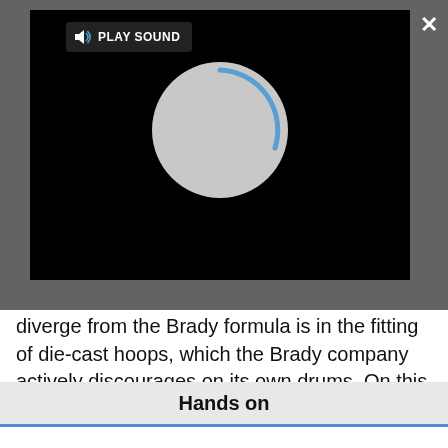[Figure (screenshot): A media player interface on a dark grey background showing a black video area with a circular loading spinner and a 'PLAY SOUND' button in the top-left. There is a close (X) button in the top-right corner and an expand arrows icon in the bottom-right corner.]
diverge from the Brady formula is in the fitting of die-cast hoops, which the Brady company actively discourages on its own drums. On this component, Dixon felt that the added focus that die-cast hoops bring (to cross-stickings and rimshots in particular) benefited these snare drums enough to justify their inclusion.
Hands on